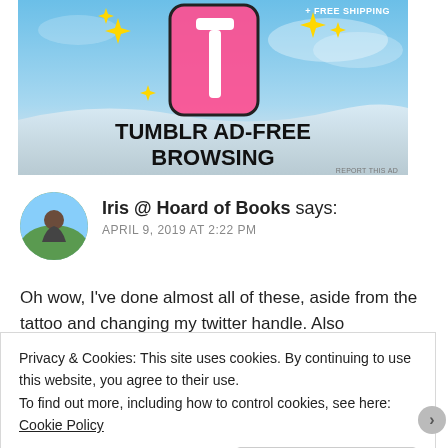[Figure (illustration): Tumblr ad banner showing stylized 't' logo with sparkles on sky blue background, text 'TUMBLR AD-FREE BROWSING' and '+ FREE SHIPPING']
Iris @ Hoard of Books says:
APRIL 9, 2019 AT 2:22 PM
Oh wow, I've done almost all of these, aside from the tattoo and changing my twitter handle. Also
Privacy & Cookies: This site uses cookies. By continuing to use this website, you agree to their use.
To find out more, including how to control cookies, see here: Cookie Policy
Close and accept